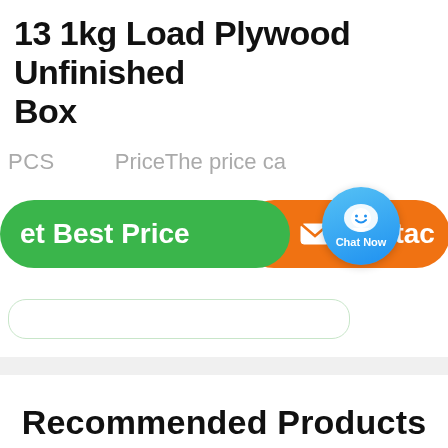13 1kg Load Plywood Unfinished Box
PCS    Price⁠The price ca
[Figure (screenshot): Green 'Get Best Price' button, blue chat bubble with smiley face and 'Chat Now' label, and orange 'Contact' button]
Recommended Products